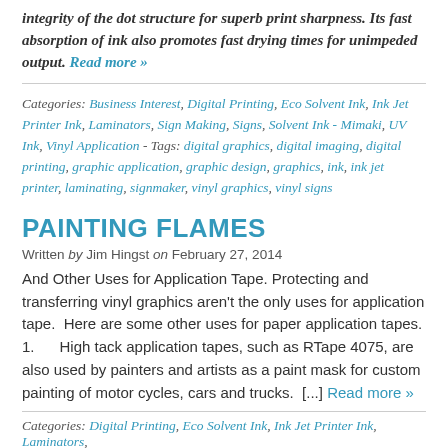integrity of the dot structure for superb print sharpness. Its fast absorption of ink also promotes fast drying times for unimpeded output. Read more »
Categories: Business Interest, Digital Printing, Eco Solvent Ink, Ink Jet Printer Ink, Laminators, Sign Making, Signs, Solvent Ink - Mimaki, UV Ink, Vinyl Application - Tags: digital graphics, digital imaging, digital printing, graphic application, graphic design, graphics, ink, ink jet printer, laminating, signmaker, vinyl graphics, vinyl signs
PAINTING FLAMES
Written by Jim Hingst on February 27, 2014
And Other Uses for Application Tape. Protecting and transferring vinyl graphics aren't the only uses for application tape.  Here are some other uses for paper application tapes. 1.      High tack application tapes, such as RTape 4075, are also used by painters and artists as a paint mask for custom painting of motor cycles, cars and trucks.  [...] Read more »
Categories: Digital Printing, Eco Solvent Ink, Ink Jet Printer Ink, Laminators,